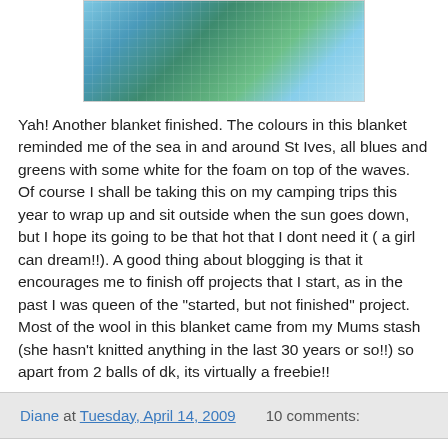[Figure (photo): Crochet blanket in blue, green, and white colors displayed outdoors on grass]
Yah! Another blanket finished. The colours in this blanket reminded me of the sea in and around St Ives, all blues and greens with some white for the foam on top of the waves. Of course I shall be taking this on my camping trips this year to wrap up and sit outside when the sun goes down, but I hope its going to be that hot that I dont need it ( a girl can dream!!). A good thing about blogging is that it encourages me to finish off projects that I start, as in the past I was queen of the "started, but not finished" project. Most of the wool in this blanket came from my Mums stash (she hasn't knitted anything in the last 30 years or so!!) so apart from 2 balls of dk, its virtually a freebie!!
Diane at Tuesday, April 14, 2009   10 comments:
Monday, 13 April 2009
Easter Sunday and Monday